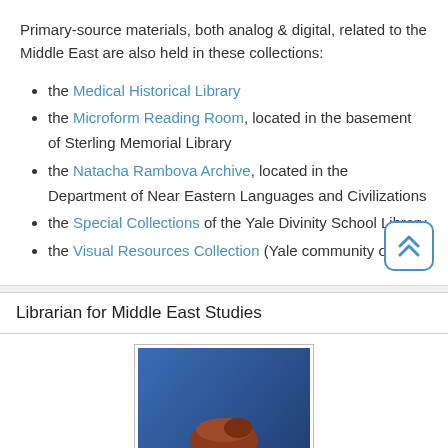Primary-source materials, both analog & digital, related to the Middle East are also held in these collections:
the Medical Historical Library
the Microform Reading Room, located in the basement of Sterling Memorial Library
the Natacha Rambova Archive, located in the Department of Near Eastern Languages and Civilizations
the Special Collections of the Yale Divinity School Library
the Visual Resources Collection (Yale community only)
Librarian for Middle East Studies
[Figure (photo): Photo of a red-haired woman in a green jacket posing with finger to lips against a blue background]